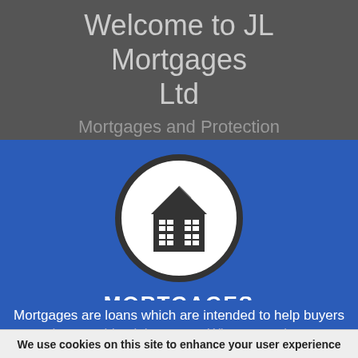Welcome to JL Mortgages Ltd
Mortgages and Protection
[Figure (illustration): A house icon in dark grey/charcoal color centered inside a white circle with a dark grey border, displayed on a blue background. The house icon shows a simple house shape with a triangular roof and rectangular windows.]
MORTGAGES
Mortgages are loans which are intended to help buyers purchase residential property. When you take out a loan, the
We use cookies on this site to enhance your user experience